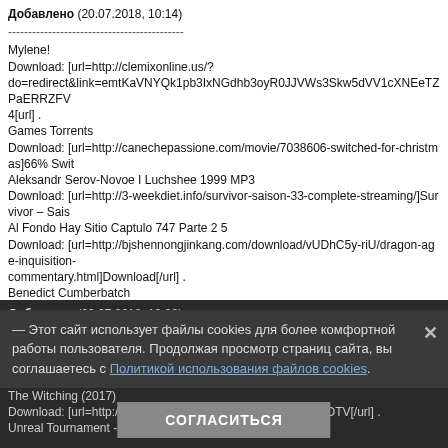Добавлено (20.07.2018, 10:14)
--------------------------------------------
Mylene!
Download: [url=http://clemixonline.us/?do=redirect&link=emtKaVNYQk1pb3IxNGdhb3oyR0JJVWs3Skw5dVV1cXNEeTZPaERRZFV4[url] .
Games Torrents
Download: [url=http://canechepassione.com/movie/7038606-switched-for-christmas]66% Swit
Aleksandr Serov-Novoe I Luchshee 1999 MP3
Download: [url=http://3-weekdiet.info/survivor-saison-33-complete-streaming/]Survivor – Sais
Al Fondo Hay Sitio Captulo 747 Parte 2 5
Download: [url=http://bjshennongjinkang.com/download/vUDhC5y-riU/dragon-age-inquisition-commentary.html]Download[/url] .
Benedict Cumberbatch
Добавлено (20.07.2018, 10:15)
--------------------------------------------
Mylene!
Download: [url=http://ju407.com/authors-eng/h-g-herbert-george-wells/index-for-works-of-h-g-
Petes Dragon 2016 720p BluRay H264 AAC-RARBG
Download: [url=http://vocosoco.com/torrent/12913129/wondershare-video-converter-ultimate-Ultimate 10 2 6 168 Portable [4REALTORRENTZ][/url] .
Arrow S05E07 HDTV x264-LOL mp4
Download: [url=http://comodecorarcasa.com/chapter/tomochan_wa_onnanoko/chapter_650]C
Read More
Download: [url=http://bjshennongjinkang.com/album/1410619522/dhadak-original-motion-pictEP[/url] .
Feedback
Добавлено (22.07.2018, 19:38)
Mylene!
Download: [url=http://ciyo3.com/magazines/]F+Ca C BF-SF FxC[url]
windows xp sp3 t
Download: [url=http://mfgweldingrods.com/sport/altri-sport/]Altri Sport[/url] .
The Witching (2017)
Download: [url=http://gstkyahai.com/...3949]Bonus Family HDTV[/url] .
Unreal Tournament - (MacAPPS) 2016